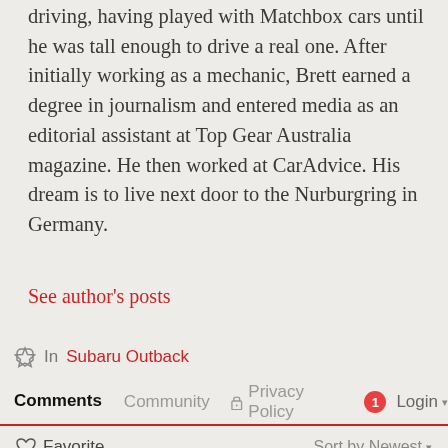driving, having played with Matchbox cars until he was tall enough to drive a real one. After initially working as a mechanic, Brett earned a degree in journalism and entered media as an editorial assistant at Top Gear Australia magazine. He then worked at CarAdvice. His dream is to live next door to the Nurburgring in Germany.
See author's posts
In  Subaru Outback
Comments  Community  Privacy Policy  1  Login
Favorite  Sort by Newest
Start the discussion...